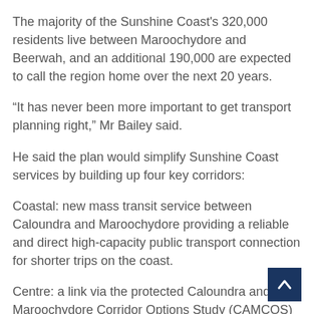The majority of the Sunshine Coast's 320,000 residents live between Maroochydore and Beerwah, and an additional 190,000 are expected to call the region home over the next 20 years.
“It has never been more important to get transport planning right,” Mr Bailey said.
He said the plan would simplify Sunshine Coast services by building up four key corridors:
Coastal: new mass transit service between Caloundra and Maroochydore providing a reliable and direct high-capacity public transport connection for shorter trips on the coast.
Centre: a link via the protected Caloundra and Maroochydore Corridor Options Study (CAMCOS) that provides for longer distance trips on the coast and to the rest of South East Queensland.